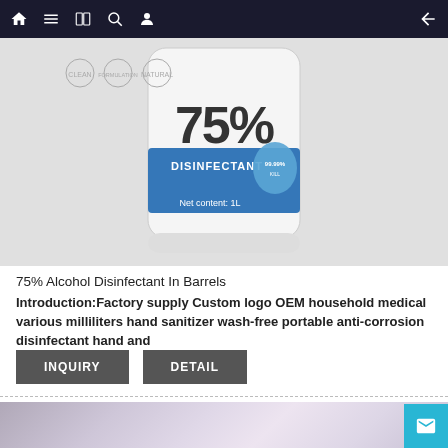Navigation bar with home, menu, book, search, profile icons and back arrow
[Figure (photo): Product photo of a white barrel/bottle of 75% Disinfectant hand sanitizer with blue label, showing 75% in large text, DISINFECTANT label, and Net content: 1L. Small icons at top left show clean, formulation, natural certifications.]
75% Alcohol Disinfectant In Barrels
Introduction:Factory supply Custom logo OEM household medical various milliliters hand sanitizer wash-free portable anti-corrosion disinfectant hand and
[Figure (other): Partial view of a second product image with purple/lavender gradient background, partially visible at bottom of page]